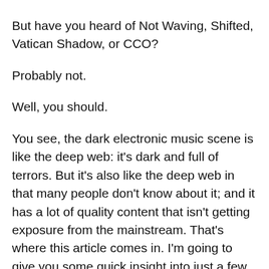But have you heard of Not Waving, Shifted, Vatican Shadow, or CCO?
Probably not.
Well, you should.
You see, the dark electronic music scene is like the deep web: it's dark and full of terrors. But it's also like the deep web in that many people don't know about it; and it has a lot of quality content that isn't getting exposure from the mainstream. That's where this article comes in. I'm going to give you some quick insight into just a few of the crazy talented artists in this exciting genre. So sit back and relax… and enjoy the ride!